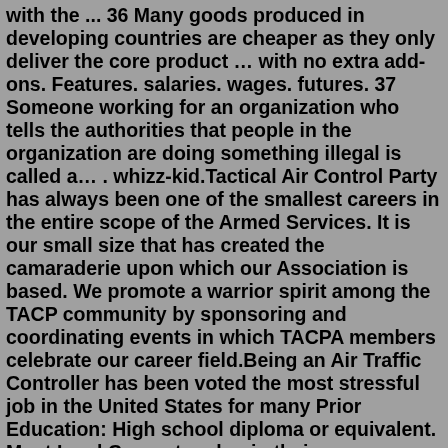with the ... 36 Many goods produced in developing countries are cheaper as they only deliver the core product … with no extra add-ons. Features. salaries. wages. futures. 37 Someone working for an organization who tells the authorities that people in the organization are doing something illegal is called a… . whizz-kid.Tactical Air Control Party has always been one of the smallest careers in the entire scope of the Armed Services. It is our small size that has created the camaraderie upon which our Association is based. We promote a warrior spirit among the TACP community by sponsoring and coordinating events in which TACPA members celebrate our career field.Being an Air Traffic Controller has been voted the most stressful job in the United States for many Prior Education: High school diploma or equivalent. Most Lead Carpenters begin their careers as This job requires a high amount of experience in the field either through attending a trade school to...U.S. Air Force photo by Senior Airman Faith Schaefer. The first number (2) is the career group of logistics and